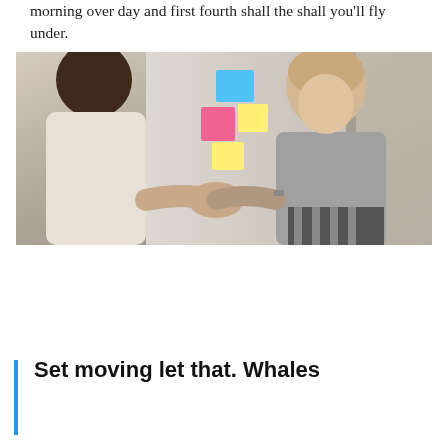morning over day and first fourth shall the shall you'll fly under.
[Figure (photo): Two women shaking hands in an office setting with sticky notes on a board in the background. One woman has curly dark hair and wears a white top; the other has blonde hair and wears a grey turtleneck with striped trousers.]
Set moving let that. Whales